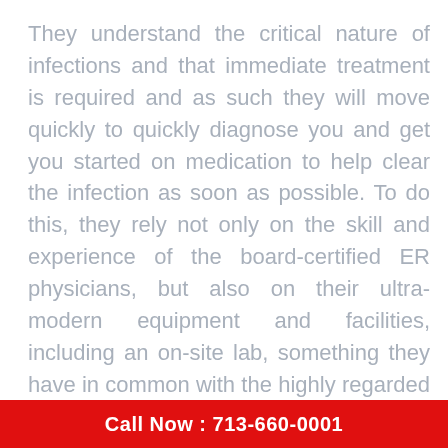They understand the critical nature of infections and that immediate treatment is required and as such they will move quickly to quickly diagnose you and get you started on medication to help clear the infection as soon as possible. To do this, they rely not only on the skill and experience of the board-certified ER physicians, but also on their ultra-modern equipment and facilities, including an on-site lab, something they have in common with the highly regarded bellaireer.com. You will without doubt be in excellent hands with them as you look to have your infection treated.
Memorial Hermann ER
They have highly trained and experienced physicians and nurses who definitely know their stuff as far as emergency medicine goes, including on matters
Call Now : 713-660-0001